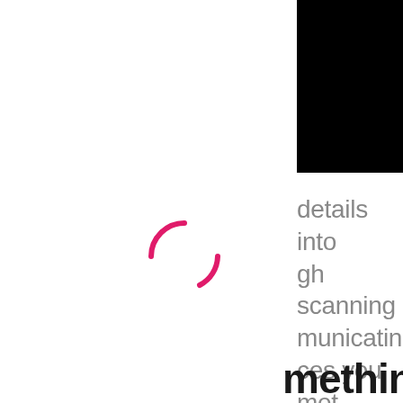[Figure (screenshot): Black navigation bar with hamburger menu icon (three horizontal white lines) in top-right corner]
details into
gh scanning
municating
ces you met
RM can
posed
Again, with
message in
personally
[Figure (other): Pink/magenta loading spinner arc (partial circle) on white background]
mething